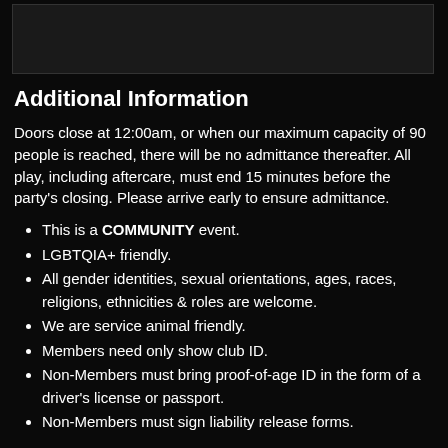[Figure (other): Dark banner/image region with black background]
Additional Information
Doors close at 12:00am, or when our maximum capacity of 90 people is reached, there will be no admittance thereafter. All play, including aftercare, must end 15 minutes before the party's closing. Please arrive early to ensure admittance.
This is a COMMUNITY event.
LGBTQIA+ friendly.
All gender identities, sexual orientations, ages, races, religions, ethnicities & roles are welcome.
We are service animal friendly.
Members need only show club ID.
Non-Members must bring proof-of-age ID in the form of a driver's license or passport.
Non-Members must sign liability release forms.